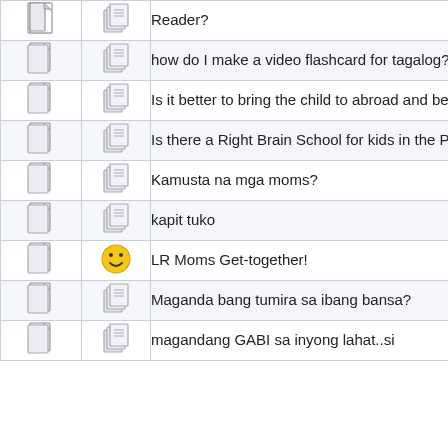|  |  | Topic | Author |
| --- | --- | --- | --- |
| [doc] | [stack] | Reader? |  |
| [doc] | [stack] | how do I make a video flashcard for tagalog? | mystisantiago |
| [doc] | [stack] | Is it better to bring the child to abroad and be with the parents? | Althea |
| [doc] | [stack] | Is there a Right Brain School for kids in the Philippines? | m_rogue23 |
| [doc] | [stack] | Kamusta na mga moms? | lila_and_mom |
| [doc] | [stack] | kapit tuko | citadel_sp |
| [doc] | [smiley] | LR Moms Get-together! | nadia0801 |
| [doc] | [stack] | Maganda bang tumira sa ibang bansa? | Danellie |
| [doc] | [stack] | magandang GABI sa inyong lahat..si | Althea |